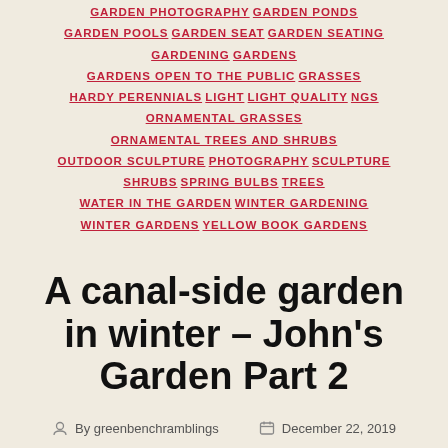GARDEN PHOTOGRAPHY  GARDEN PONDS  GARDEN POOLS  GARDEN SEAT  GARDEN SEATING  GARDENING  GARDENS  GARDENS OPEN TO THE PUBLIC  GRASSES  HARDY PERENNIALS  LIGHT  LIGHT QUALITY  NGS  ORNAMENTAL GRASSES  ORNAMENTAL TREES AND SHRUBS  OUTDOOR SCULPTURE  PHOTOGRAPHY  SCULPTURE  SHRUBS  SPRING BULBS  TREES  WATER IN THE GARDEN  WINTER GARDENING  WINTER GARDENS  YELLOW BOOK GARDENS
A canal-side garden in winter – John's Garden Part 2
By greenbenchramblings   December 22, 2019